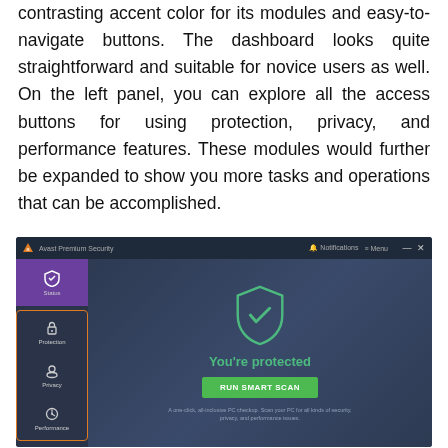contrasting accent color for its modules and easy-to-navigate buttons. The dashboard looks quite straightforward and suitable for novice users as well. On the left panel, you can explore all the access buttons for using protection, privacy, and performance features. These modules would further be expanded to show you more tasks and operations that can be accomplished.
[Figure (screenshot): Screenshot of Avast Premium Security dashboard showing the main interface with a left sidebar containing Status, Protection, Privacy, and Performance navigation items (Protection group highlighted with orange border), and the main panel showing a teal shield with checkmark icon, 'You're protected' text in green, a green 'RUN SMART SCAN' button, and descriptive text below.]